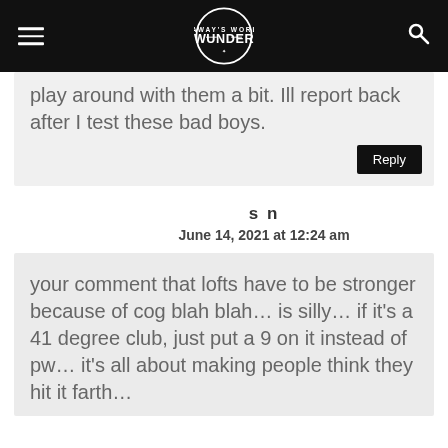WUNDER (logo)
play around with them a bit. Ill report back after I test these bad boys.
Reply
s n
June 14, 2021 at 12:24 am
your comment that lofts have to be stronger because of cog blah blah… is silly… if it's a 41 degree club, just put a 9 on it instead of pw… it's all about making people think they hit it farth…